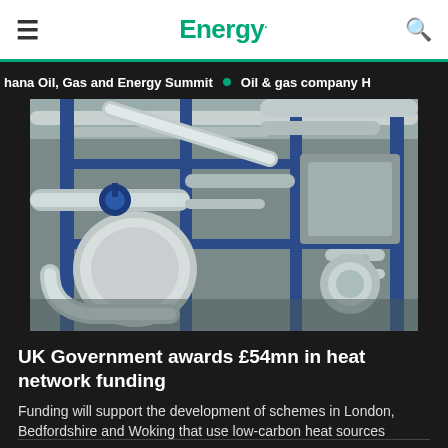Energy.
Ghana Oil, Gas and Energy Summit  •  Oil & gas company H
[Figure (photo): Industrial heat network equipment — pipes, valves, and machinery in a facility with blue steel frames and silver insulated pipes]
UK Government awards £54mn in heat network funding
Funding will support the development of schemes in London, Bedfordshire and Woking that use low-carbon heat sources